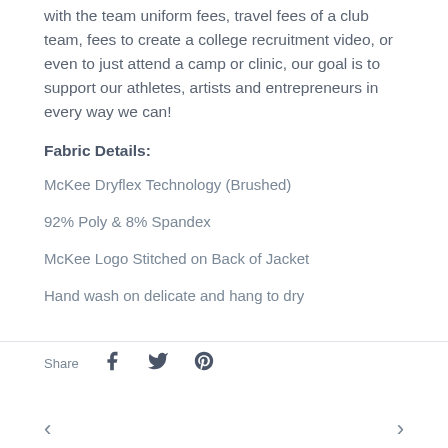with the team uniform fees, travel fees of a club team, fees to create a college recruitment video, or even to just attend a camp or clinic, our goal is to support our athletes, artists and entrepreneurs in every way we can!
Fabric Details:
McKee Dryflex Technology (Brushed)
92% Poly & 8% Spandex
McKee Logo Stitched on Back of Jacket
Hand wash on delicate and hang to dry
Share